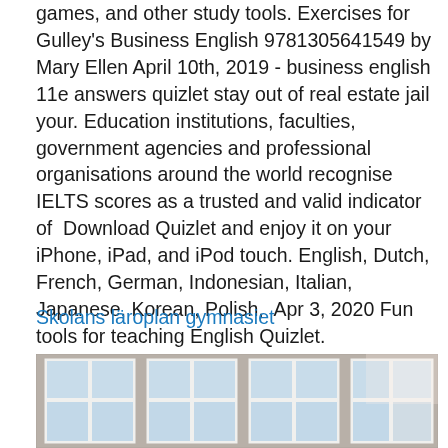games, and other study tools. Exercises for Gulley's Business English 9781305641549 by Mary Ellen April 10th, 2019 - business english 11e answers quizlet stay out of real estate jail your. Education institutions, faculties, government agencies and professional organisations around the world recognise IELTS scores as a trusted and valid indicator of  Download Quizlet and enjoy it on your iPhone, iPad, and iPod touch. English, Dutch, French, German, Indonesian, Italian, Japanese, Korean, Polish,  Apr 3, 2020 Fun tools for teaching English Quizlet.
Skolans läroplan gymnasiet
[Figure (photo): Exterior of a building with multiple white-framed windows arranged in a row, showing a grey/brown corrugated or wooden facade with light-colored window frames containing multiple panes.]